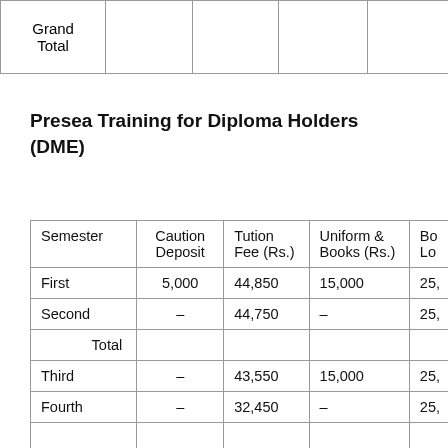| Grand
Total |  |  |  |  |
Presea Training for Diploma Holders (DME)
| Semester | Caution Deposit | Tution Fee (Rs.) | Uniform & Books (Rs.) | Bo Lo |
| --- | --- | --- | --- | --- |
| First | 5,000 | 44,850 | 15,000 | 25, |
| Second | – | 44,750 | – | 25, |
| Total |  |  |  |  |
| Third | – | 43,550 | 15,000 | 25, |
| Fourth | – | 32,450 | – | 25, |